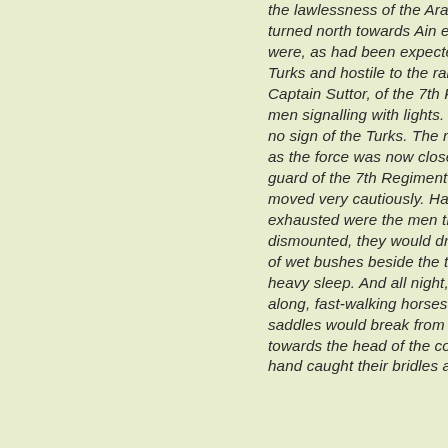the lawlessness of the Arab tribes - the column turned north towards Ain es Sir. The Circassians were, as had been expected, very friendly to the Turks and hostile to the raiders, and at Naaur Captain Suttor, of the 7th Regiment, caught three men signalling with lights. There was, however, still no sign of the Turks. The route was indefinite, and as the force was now close to Amman, the advance-guard of the 7th Regiment, which was leading, moved very cautiously. Halts were frequent; so exhausted were the men that each time, as they dismounted, they would drop exhausted on clumps of wet bushes beside the track, and fall instantly into heavy sleep. And all night, as the brigade crept along, fast-walking horses with men asleep in the saddles would break from the sections and pace up towards the head of the column, until a friendly hand caught their bridles and eased their